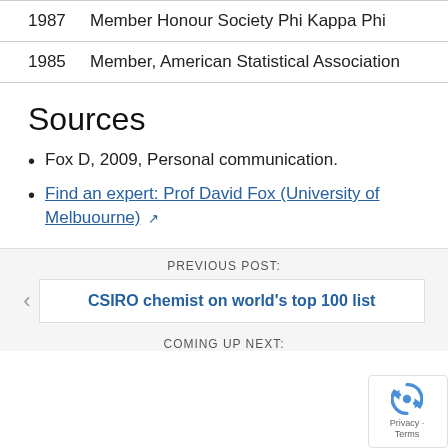1987    Member Honour Society Phi Kappa Phi
1985    Member, American Statistical Association
Sources
Fox D, 2009, Personal communication.
Find an expert: Prof David Fox (University of Melbuourne)
PREVIOUS POST:
CSIRO chemist on world's top 100 list
COMING UP NEXT: